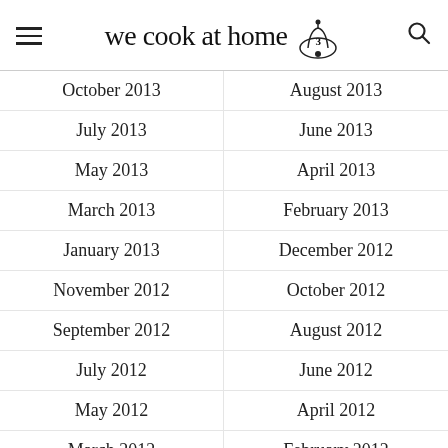we cook at home
October 2013
August 2013
July 2013
June 2013
May 2013
April 2013
March 2013
February 2013
January 2013
December 2012
November 2012
October 2012
September 2012
August 2012
July 2012
June 2012
May 2012
April 2012
March 2012
February 2012
January 2012
December 2011
November 2011
October 2011
September 2011